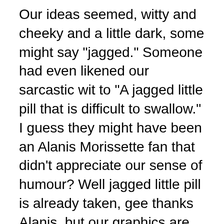Our ideas seemed, witty and cheeky and a little dark, some might say "jagged." Someone had even likened our sarcastic wit to "A jagged little pill that is difficult to swallow." I guess they might have been an Alanis Morissette fan that didn't appreciate our sense of humour? Well jagged little pill is already taken, gee thanks Alanis, but our graphics are made from pixels, not pills, so we just had the one word to switch, and Jagged Little Pixel was born!
Jagged Little Pixel has a social media